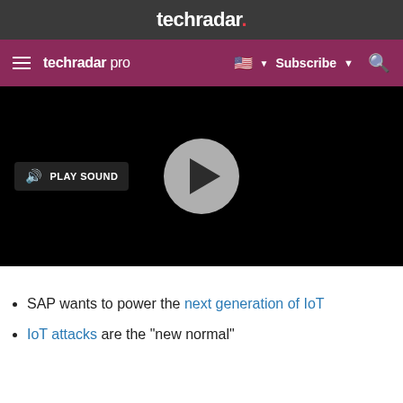techradar.
techradar pro  Subscribe
[Figure (screenshot): Video player with black background, a circular grey play button in the center, and a 'PLAY SOUND' button in the lower left with a speaker icon.]
SAP wants to power the next generation of IoT
IoT attacks are the "new normal"
(partially visible third bullet)